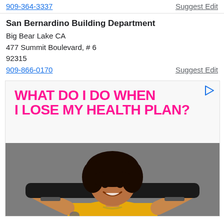909-364-3337
Suggest Edit
San Bernardino Building Department
Big Bear Lake CA
477 Summit Boulevard, # 6
92315
909-866-0170
Suggest Edit
[Figure (photo): Advertisement banner with hot pink bold text reading 'WHAT DO I DO WHEN I LOSE MY HEALTH PLAN?' on light background, and a photo of a smiling young woman with curly hair holding a skateboard above her shoulders, wearing a yellow t-shirt, against a grey concrete wall background.]